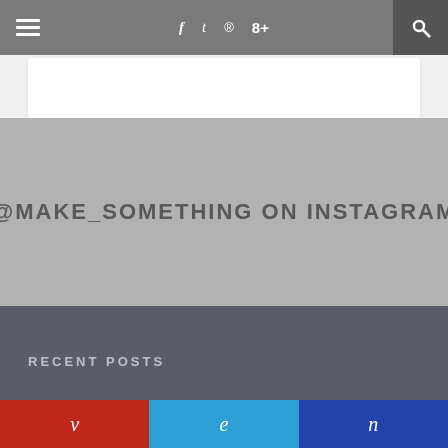≡  f  t   pinterest  g+  🔍
[Figure (screenshot): Gray mid-section with @MAKE_SOMETHING ON INSTAGRAM text]
@MAKE_SOMETHING ON INSTAGRAM
RECENT POSTS
[Figure (infographic): Social share buttons: v (red), e (blue), n (dark blue)]